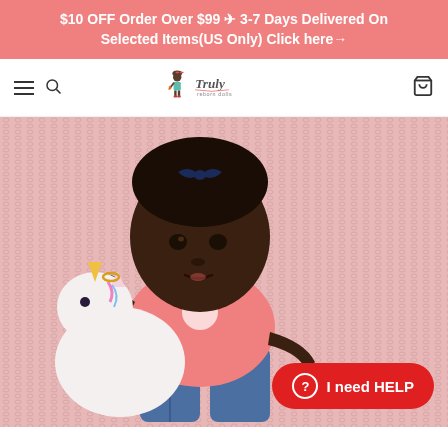$10 OFF Order Over $99 ✈ 3-7 Days Delivered On Selected Items(US Only) Click here→
[Figure (logo): Truly Reborn Dolls logo with illustrated girl character]
[Figure (photo): Reborn baby doll with dark skin tone, curly hair with navy blue bow, wearing pink unicorn shirt and denim jeans, holding a white unicorn plush toy, lying on a pink knit blanket]
I need HELP